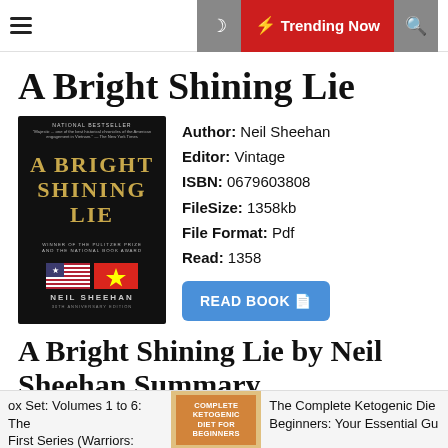≡  🌙  ⚡ Trending Now  🔍
A Bright Shining Lie
[Figure (photo): Book cover of 'A Bright Shining Lie' by Neil Sheehan, black background with gold title text, American flag and Vietnamese flag, anniversary edition]
Author: Neil Sheehan
Editor: Vintage
ISBN: 0679603808
FileSize: 1358kb
File Format: Pdf
Read: 1358
A Bright Shining Lie by Neil Sheehan Summary
ox Set: Volumes 1 to 6: The First Series (Warriors: Th...   The Complete Ketogenic Die Beginners: Your Essential Gu